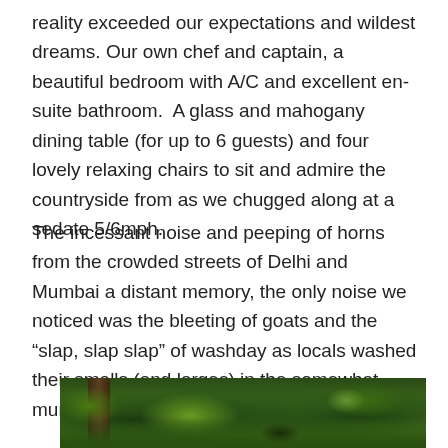reality exceeded our expectations and wildest dreams. Our own chef and captain, a beautiful bedroom with A/C and excellent en-suite bathroom.  A glass and mahogany dining table (for up to 6 guests) and four lovely relaxing chairs to sit and admire the countryside from as we chugged along at a sedate 5/6mph.
The incessant noise and peeping of horns from the crowded streets of Delhi and Mumbai a distant memory, the only noise we noticed was the bleeting of goats and the “slap, slap slap” of washday as locals washed their smalls (and larges) in the somewhat murky waters, no detergent in sight.
[Figure (photo): A lush green outdoor scene with dense vegetation, trees, and foliage, photographed in natural daylight. An animal or figure is partially visible in the lower center area among the greenery.]